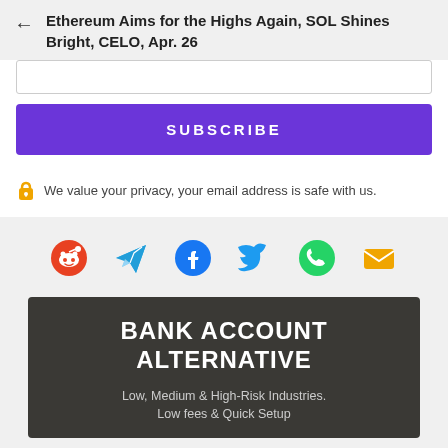Ethereum Aims for the Highs Again, SOL Shines Bright, CELO, Apr. 26
[Figure (screenshot): Email subscribe form with input box and purple SUBSCRIBE button]
We value your privacy, your email address is safe with us.
[Figure (infographic): Social share icons: Reddit (orange), Telegram (blue), Facebook (dark blue), Twitter (light blue), WhatsApp (green), Email (orange)]
[Figure (infographic): Advertisement banner with dark background. Title: BANK ACCOUNT ALTERNATIVE. Subtitle: Low, Medium & High-Risk Industries. Low fees & Quick Setup]